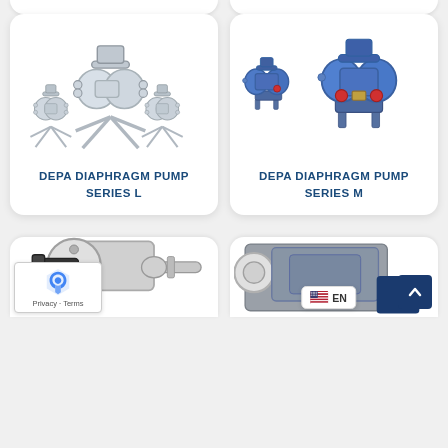[Figure (photo): DEPA Diaphragm Pump Series L - three silver/aluminum pneumatic double diaphragm pumps on cross-shaped stands]
DEPA DIAPHRAGM PUMP SERIES L
[Figure (photo): DEPA Diaphragm Pump Series M - two blue pneumatic double diaphragm pumps with red accent fittings]
DEPA DIAPHRAGM PUMP SERIES M
[Figure (photo): Partial view of a white/grey diaphragm pump with black flange fittings and chrome connections, with reCAPTCHA badge overlay]
[Figure (photo): Partial view of industrial pump with stainless steel inlet and grey/blue housing, with EN language selector and scroll-to-top button overlay]